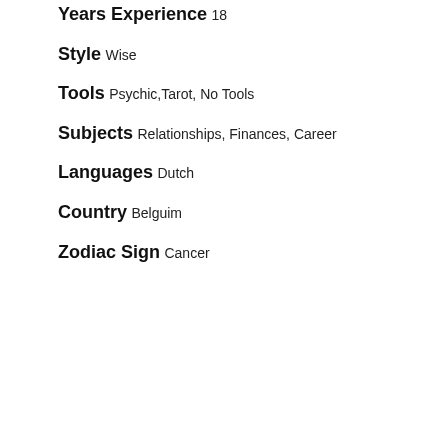Years Experience
18
Style
Wise
Tools
Psychic,Tarot, No Tools
Subjects
Relationships, Finances, Career
Languages
Dutch
Country
Belguim
Zodiac Sign
Cancer